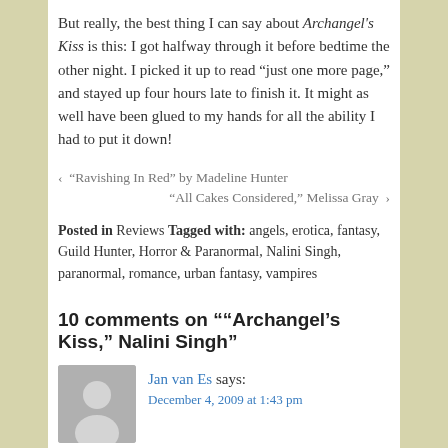But really, the best thing I can say about Archangel's Kiss is this: I got halfway through it before bedtime the other night. I picked it up to read “just one more page,” and stayed up four hours late to finish it. It might as well have been glued to my hands for all the ability I had to put it down!
‹ “Ravishing In Red” by Madeline Hunter
“All Cakes Considered,” Melissa Gray ›
Posted in Reviews Tagged with: angels, erotica, fantasy, Guild Hunter, Horror & Paranormal, Nalini Singh, paranormal, romance, urban fantasy, vampires
10 comments on ““Archangel’s Kiss,” Nalini Singh”
Jan van Es says:
December 4, 2009 at 1:43 pm
Funny thing, I finished reading Angel's Blood last night (it references this book, though there’s a cliffhanger